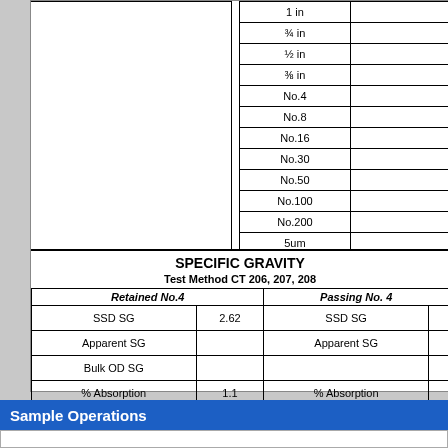| Sieve |  |
| --- | --- |
| 1 in |  |
| ¾ in |  |
| ½ in |  |
| ⅜ in |  |
| No.4 |  |
| No.8 |  |
| No.16 |  |
| No.30 |  |
| No.50 |  |
| No.100 |  |
| No.200 |  |
| 5um |  |
| 1um |  |
SPECIFIC GRAVITY
Test Method CT 206, 207, 208
| Retained No.4 |  | Passing No. 4 |  |
| --- | --- | --- | --- |
| SSD SG | 2.62 | SSD SG |  |
| Apparent SG |  | Apparent SG |  |
| Bulk OD SG |  |  |  |
| % Absorption | 1.1 | % Absorption |  |
REMARKS: Primary Aggregate Nominal Size: 3/8 inch
Sample Operations